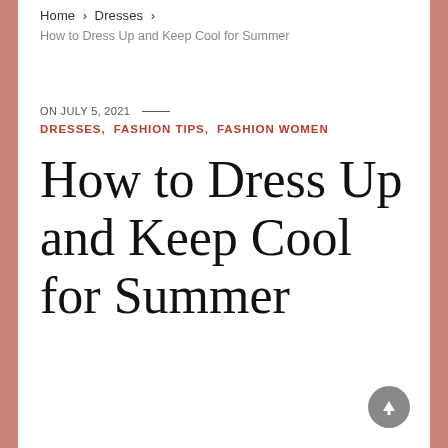Home › Dresses ›
How to Dress Up and Keep Cool for Summer
ON JULY 5, 2021 —
DRESSES, FASHION TIPS, FASHION WOMEN
How to Dress Up and Keep Cool for Summer